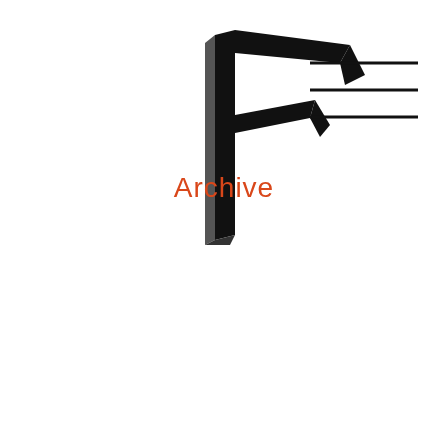[Figure (logo): Abstract geometric logo resembling a stylized letter F or rune, rendered in black with 3D perspective lines]
[Figure (illustration): Three horizontal parallel lines forming a hamburger/menu icon, positioned in the upper right area]
Archive